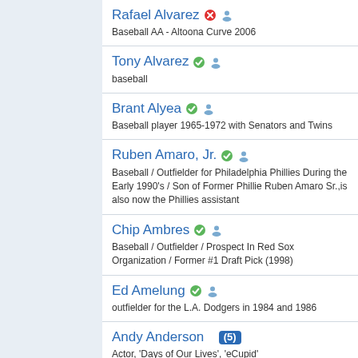Rafael Alvarez
Baseball AA - Altoona Curve 2006
Tony Alvarez
baseball
Brant Alyea
Baseball player 1965-1972 with Senators and Twins
Ruben Amaro, Jr.
Baseball / Outfielder for Philadelphia Phillies During the Early 1990's / Son of Former Phillie Ruben Amaro Sr.,is also now the Phillies assistant
Chip Ambres
Baseball / Outfielder / Prospect In Red Sox Organization / Former #1 Draft Pick (1998)
Ed Amelung
outfielder for the L.A. Dodgers in 1984 and 1986
Andy Anderson (5)
Actor, 'Days of Our Lives', 'eCupid'
Bob Anderson (5)
Singer-impressionist,